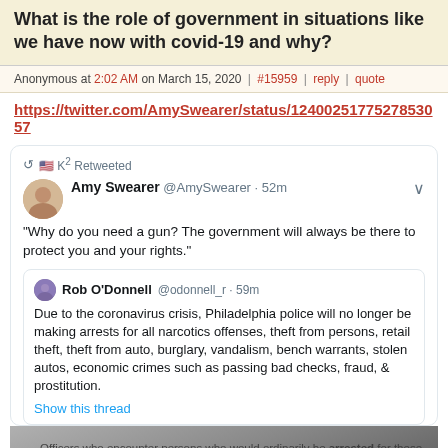What is the role of government in situations like we have now with covid-19 and why?
Anonymous at 2:02 AM on March 15, 2020 | #15959 | reply | quote
https://twitter.com/AmySwearer/status/1240025177527853057
[Figure (screenshot): Screenshot of a tweet by Amy Swearer (@AmySwearer, 52m): 'Why do you need a gun? The government will always be there to protect you and your rights.' Retweeted by K². Quoted tweet by Rob O'Donnell (@odonnell_r, 59m): 'Due to the coronavirus crisis, Philadelphia police will no longer be making arrests for all narcotics offenses, theft from persons, retail theft, theft from auto, burglary, vandalism, bench warrants, stolen autos, economic crimes such as passing bad checks, fraud, & prostitution. Show this thread' Followed by a partial image of a document listing police procedures.]